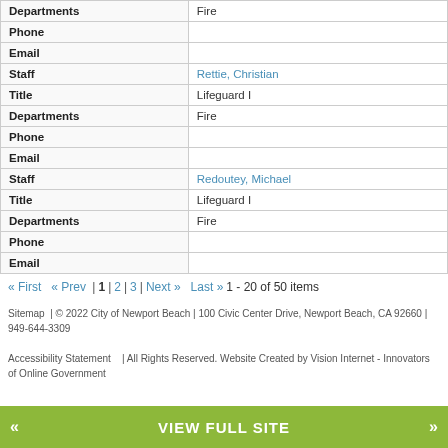| Field | Value |
| --- | --- |
| Departments | Fire |
| Phone |  |
| Email |  |
| Staff | Rettie, Christian |
| Title | Lifeguard I |
| Departments | Fire |
| Phone |  |
| Email |  |
| Staff | Redoutey, Michael |
| Title | Lifeguard I |
| Departments | Fire |
| Phone |  |
| Email |  |
« First  « Prev  |  1  |  2  |  3  |  Next »  Last »  1 - 20 of 50 items
Sitemap | © 2022 City of Newport Beach | 100 Civic Center Drive, Newport Beach, CA 92660 | 949-644-3309
Accessibility Statement | All Rights Reserved. Website Created by Vision Internet - Innovators of Online Government
VIEW FULL SITE